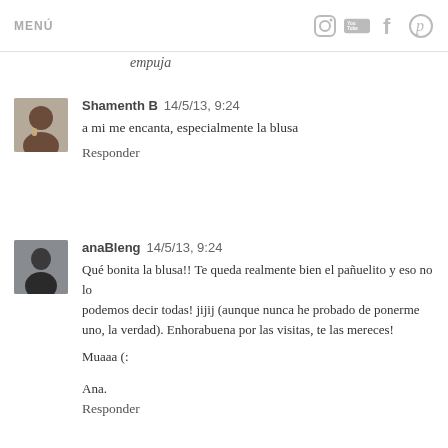MENÚ
empuja
[Figure (photo): Avatar of Shamenth B – person with dark hair]
Shamenth B  14/5/13, 9:24
a mi me encanta, especialmente la blusa
Responder
[Figure (photo): Avatar of anaBleng – woman with dark hair]
anaBleng  14/5/13, 9:24
Qué bonita la blusa!! Te queda realmente bien el pañuelito y eso no lo podemos decir todas! jijij (aunque nunca he probado de ponerme uno, la verdad). Enhorabuena por las visitas, te las mereces!
Muaaa (:
Ana.
Responder